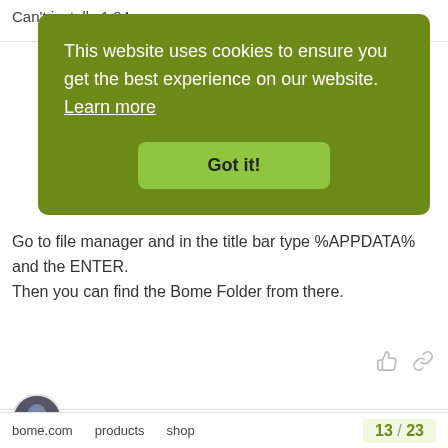Can't install v1.84
[Figure (screenshot): Cookie consent banner overlay with dark green background. Text reads: 'This website uses cookies to ensure you get the best experience on our website. Learn more'. Green button labeled 'Got it!']
SteveC
staff
Nov '19
Go to file manager and in the title bar type %APPDATA% and the ENTER.
Then you can find the Bome Folder from there.
fingerlight
bome.com   products   shop   13 / 23